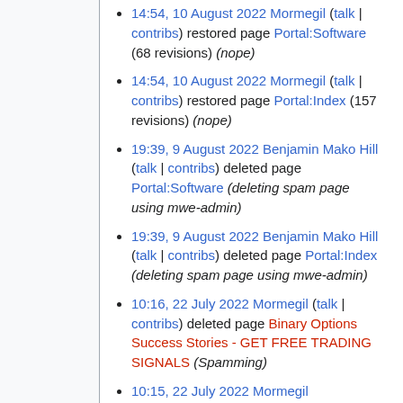14:54, 10 August 2022 Mormegil (talk | contribs) restored page Portal:Software (68 revisions) (nope)
14:54, 10 August 2022 Mormegil (talk | contribs) restored page Portal:Index (157 revisions) (nope)
19:39, 9 August 2022 Benjamin Mako Hill (talk | contribs) deleted page Portal:Software (deleting spam page using mwe-admin)
19:39, 9 August 2022 Benjamin Mako Hill (talk | contribs) deleted page Portal:Index (deleting spam page using mwe-admin)
10:16, 22 July 2022 Mormegil (talk | contribs) deleted page Binary Options Success Stories - GET FREE TRADING SIGNALS (Spamming)
10:15, 22 July 2022 Mormegil